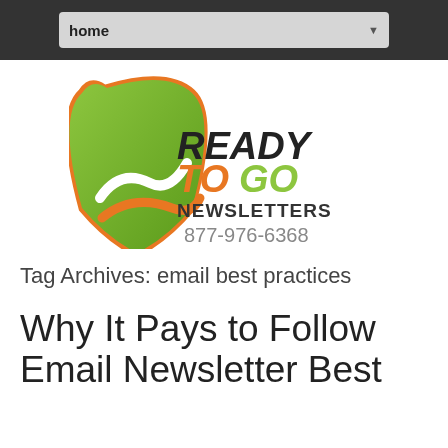home
[Figure (logo): ReadyToGo Newsletters logo with shield graphic and phone number 877-976-6368]
Tag Archives: email best practices
Why It Pays to Follow Email Newsletter Best